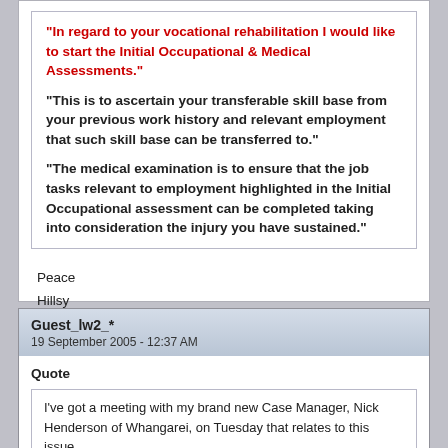"In regard to your vocational rehabilitation I would like to start the Initial Occupational & Medical Assessments."
"This is to ascertain your transferable skill base from your previous work history and relevant employment that such skill base can be transferred to."
"The medical examination is to ensure that the job tasks relevant to employment highlighted in the Initial Occupational assessment can be completed taking into consideration the injury you have sustained."
Peace
Hillsy
Guest_lw2_*
19 September 2005 - 12:37 AM
Quote
I've got a meeting with my brand new Case Manager, Nick Henderson of Whangarei, on Tuesday that relates to this issue.